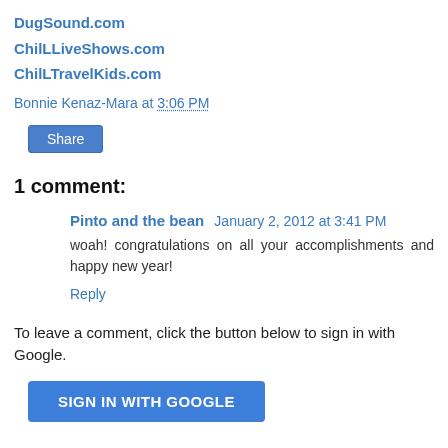DugSound.com
ChilLLiveShows.com
ChilLTravelKids.com
Bonnie Kenaz-Mara at 3:06 PM
Share
1 comment:
Pinto and the bean  January 2, 2012 at 3:41 PM
woah! congratulations on all your accomplishments and happy new year!
Reply
To leave a comment, click the button below to sign in with Google.
SIGN IN WITH GOOGLE